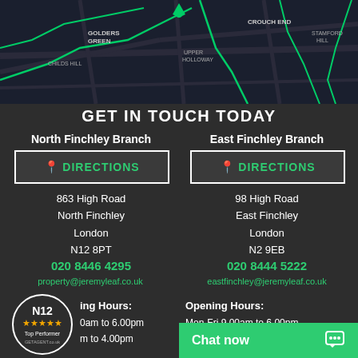[Figure (map): Dark map showing North London area including Golders Green, Crouch End, Childs Hill, Upper Holloway, Stamford Hill with green route lines]
GET IN TOUCH TODAY
North Finchley Branch
East Finchley Branch
DIRECTIONS
DIRECTIONS
863 High Road
North Finchley
London
N12 8PT
98 High Road
East Finchley
London
N2 9EB
020 8446 4295
020 8444 5222
property@jeremyleaf.co.uk
eastfinchley@jeremyleaf.co.uk
Opening Hours:
Mon-Fri 9.00am to 6.00pm
Sat to 4.00pm
Opening Hours:
Mon-Fri 9.00am to 6.00pm
Chat now